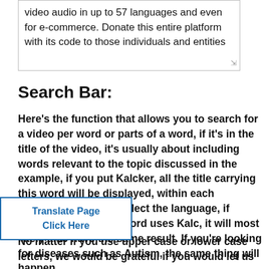video audio in up to 57 languages and even for e-commerce. Donate this entire platform with its code to those individuals and entities
Search Bar:
Here's the function that allows you to search for a video per word or parts of a word, if it's in the title of the video, it's usually about including words relevant to the topic discussed in the example, if you put Kalcker, all the title carrying this word will be displayed, within each language, you must select the language, if instead of the whole word uses Kalc, it will most likely also have the same result. If you're looking for diseases such as Autism, the same thing will happen.
[Figure (other): Translate Page Click Here button overlay]
No matter if you use upper case or lower case letters, we would be grateful if you would let us